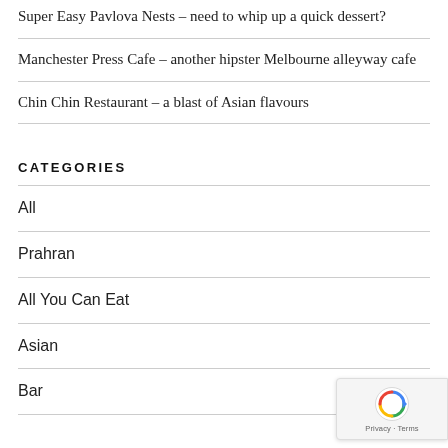Super Easy Pavlova Nests – need to whip up a quick dessert?
Manchester Press Cafe – another hipster Melbourne alleyway cafe
Chin Chin Restaurant – a blast of Asian flavours
CATEGORIES
All
Prahran
All You Can Eat
Asian
Bar